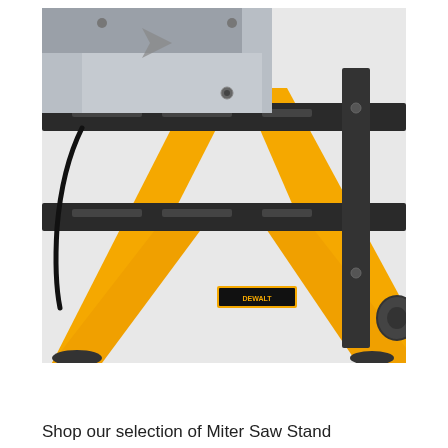[Figure (photo): Close-up photograph of a miter saw mounted on a yellow DeWalt miter saw stand. The saw base is silver/aluminum colored, sitting on a black metal rack/rail system. The stand has bright yellow tubular steel legs in an X-brace configuration, with black rubber feet. A black power cord is visible. The DeWalt logo sticker is visible on the yellow frame.]
Shop our selection of Miter Saw Stand